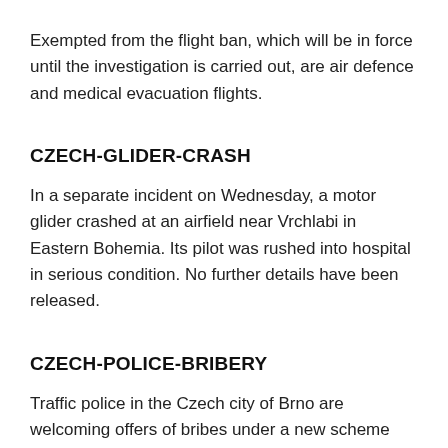Exempted from the flight ban, which will be in force until the investigation is carried out, are air defence and medical evacuation flights.
CZECH-GLIDER-CRASH
In a separate incident on Wednesday, a motor glider crashed at an airfield near Vrchlabi in Eastern Bohemia. Its pilot was rushed into hospital in serious condition. No further details have been released.
CZECH-POLICE-BRIBERY
Traffic police in the Czech city of Brno are welcoming offers of bribes under a new scheme which rewards